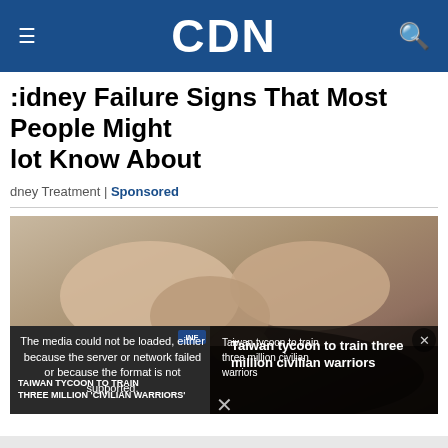CDN
Kidney Failure Signs That Most People Might Not Know About
dney Treatment | Sponsored
[Figure (photo): Close-up photo of hands pressing or examining skin, possibly a back or scalp area.]
The media could not be loaded, either because the server or network failed or because the format is not supported.
Taiwan tycoon to train three million civilian warriors
TAIWAN TYCOON TO TRAIN THREE MILLION 'CIVILIAN WARRIORS'